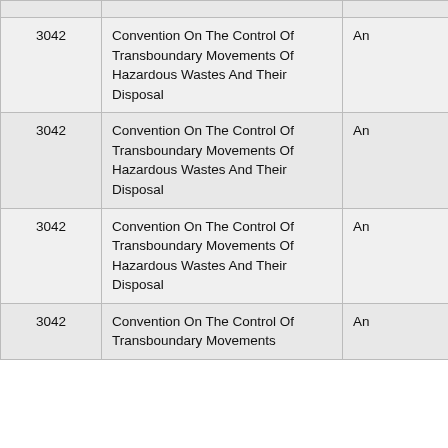| [number] | [title] | [extra] |
| --- | --- | --- |
|  |  |  |
| 3042 | Convention On The Control Of Transboundary Movements Of Hazardous Wastes And Their Disposal | An |
| 3042 | Convention On The Control Of Transboundary Movements Of Hazardous Wastes And Their Disposal | An |
| 3042 | Convention On The Control Of Transboundary Movements Of Hazardous Wastes And Their Disposal | An |
| 3042 | Convention On The Control Of Transboundary Movements | An |